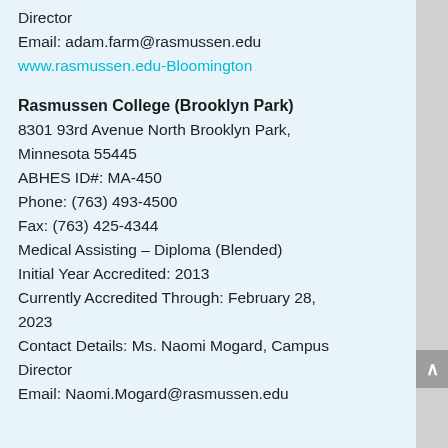Director
Email: adam.farm@rasmussen.edu
www.rasmussen.edu-Bloomington
Rasmussen College (Brooklyn Park)
8301 93rd Avenue North Brooklyn Park, Minnesota 55445
ABHES ID#: MA-450
Phone: (763) 493-4500
Fax: (763) 425-4344
Medical Assisting – Diploma (Blended)
Initial Year Accredited: 2013
Currently Accredited Through: February 28, 2023
Contact Details: Ms. Naomi Mogard, Campus Director
Email: Naomi.Mogard@rasmussen.edu